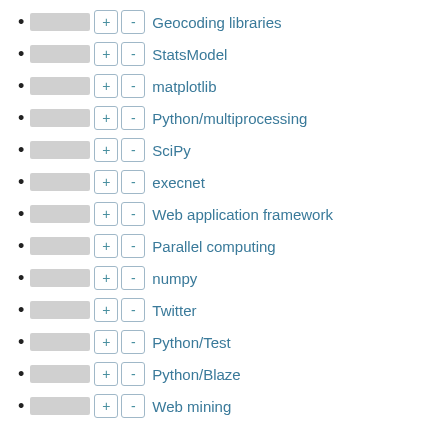Geocoding libraries
StatsModel
matplotlib
Python/multiprocessing
SciPy
execnet
Web application framework
Parallel computing
numpy
Twitter
Python/Test
Python/Blaze
Web mining